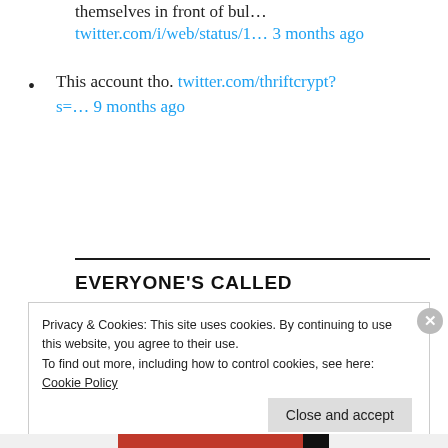themselves in front of bul...
twitter.com/i/web/status/1... 3 months ago
This account tho. twitter.com/thriftcrypt?s=... 9 months ago
[Figure (other): Twitter Follow button for @darrensutton]
EVERYONE'S CALLED
Privacy & Cookies: This site uses cookies. By continuing to use this website, you agree to their use.
To find out more, including how to control cookies, see here:
Cookie Policy
Close and accept